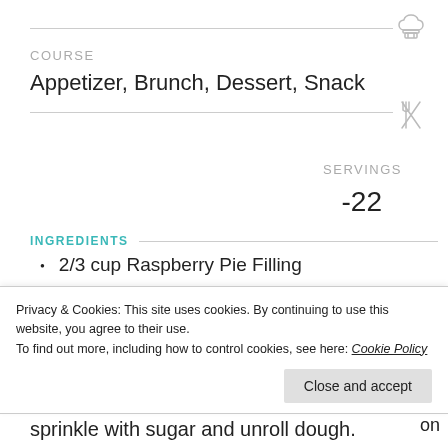COURSE
Appetizer, Brunch, Dessert, Snack
SERVINGS
-22
INGREDIENTS
2/3 cup Raspberry Pie Filling
1 roll crescent roll dough
Privacy & Cookies: This site uses cookies. By continuing to use this website, you agree to their use.
To find out more, including how to control cookies, see here: Cookie Policy
Close and accept
sprinkle with sugar and unroll dough.